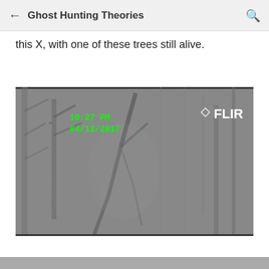Ghost Hunting Theories
this X, with one of these trees still alive.
[Figure (screenshot): FLIR thermal camera footage showing dark gray trees/branches against a gray background. Green timestamp reads 10:27 PM 04/12/2017 in upper left. FLIR logo in white upper right.]